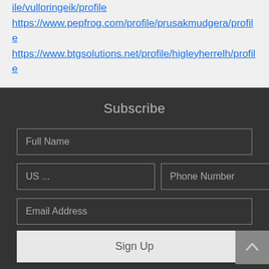ile/vulloringeik/profile https://www.pepfrog.com/profile/prusakmudgera/profile https://www.btgsolutions.net/profile/higleyherrelh/profile
Subscribe
[Figure (screenshot): Web subscribe form with fields: Full Name, US... (country code), Phone Number, Email Address, and a Sign Up button]
[Figure (other): Bottom navigation bar with Phone, Email, Facebook, Chat icons]